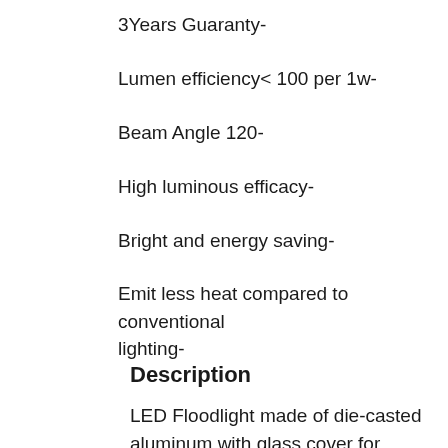3Years Guaranty-
Lumen efficiency< 100 per 1w-
Beam Angle 120-
High luminous efficacy-
Bright and energy saving-
Emit less heat compared to conventional lighting-
Description
LED Floodlight made of die-casted aluminum with glass cover for protection.